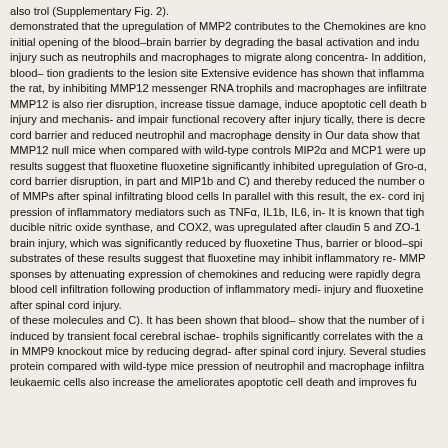also trol (Supplementary Fig. 2). demonstrated that the upregulation of MMP2 contributes to the Chemokines are kno initial opening of the blood–brain barrier by degrading the basal activation and indu injury such as neutrophils and macrophages to migrate along concentra- In addition, blood– tion gradients to the lesion site Extensive evidence has shown that inflamma the rat, by inhibiting MMP12 messenger RNA trophils and macrophages are infiltrate MMP12 is also rier disruption, increase tissue damage, induce apoptotic cell death b injury and mechanis- and impair functional recovery after injury tically, there is decre cord barrier and reduced neutrophil and macrophage density in Our data show that MMP12 null mice when compared with wild-type controls MIP2α and MCP1 were up results suggest that fluoxetine fluoxetine significantly inhibited upregulation of Gro-α, cord barrier disruption, in part and MIP1b and C) and thereby reduced the number o of MMPs after spinal infiltrating blood cells In parallel with this result, the ex- cord inj pression of inflammatory mediators such as TNFα, IL1b, IL6, in- It is known that tigh ducible nitric oxide synthase, and COX2, was upregulated after claudin 5 and ZO-1 brain injury, which was significantly reduced by fluoxetine Thus, barrier or blood–spi substrates of these results suggest that fluoxetine may inhibit inflammatory re- MMP sponses by attenuating expression of chemokines and reducing were rapidly degra blood cell infiltration following production of inflammatory medi- injury and fluoxetine after spinal cord injury. of these molecules and C). It has been shown that blood– show that the number of i induced by transient focal cerebral ischae- trophils significantly correlates with the a in MMP9 knockout mice by reducing degrad- after spinal cord injury. Several studies protein compared with wild-type mice pression of neutrophil and macrophage infiltra leukaemic cells also increase the ameliorates apoptotic cell death and improves fu